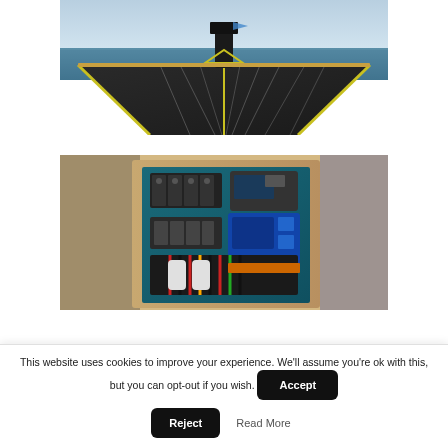[Figure (photo): Aerial view of a solar-panel-covered vessel on open ocean water, with yellow trim lines running along the deck and a mast with a flag in the background.]
[Figure (photo): Interior boat panel / electrical cabinet mounted in a wooden frame, showing blue mounting board with various electronics, controllers, circuit breakers and wiring installed.]
This website uses cookies to improve your experience. We'll assume you're ok with this, but you can opt-out if you wish.
Accept
Reject
Read More